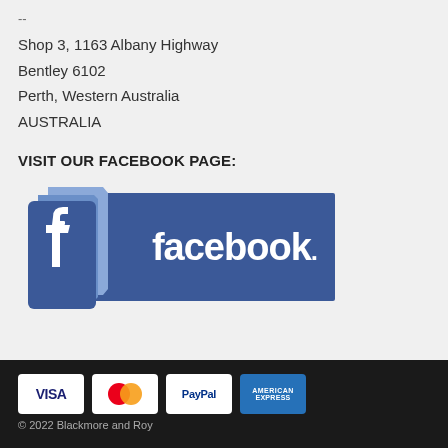--
Shop 3, 1163 Albany Highway
Bentley 6102
Perth, Western Australia
AUSTRALIA
VISIT OUR FACEBOOK PAGE:
[Figure (logo): Facebook 3D logo with blue banner showing 'facebook.' text and a 3D letter f icon in front]
[Figure (other): Payment icons: VISA, Mastercard, PayPal, American Express]
© 2022 Blackmore and Roy